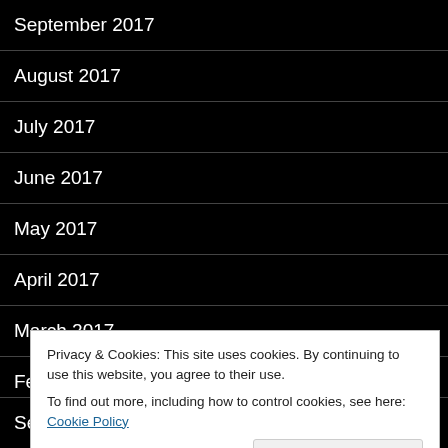September 2017
August 2017
July 2017
June 2017
May 2017
April 2017
March 2017
February 2017
January 2017
Privacy & Cookies: This site uses cookies. By continuing to use this website, you agree to their use.
To find out more, including how to control cookies, see here: Cookie Policy
September 2016